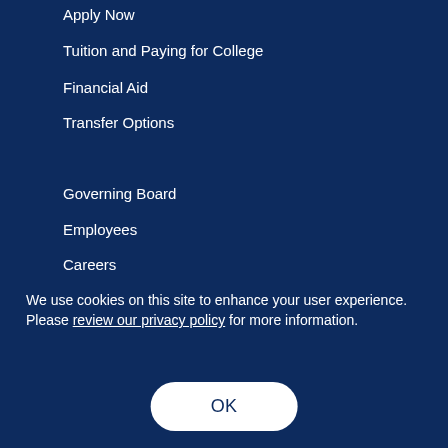Apply Now
Tuition and Paying for College
Financial Aid
Transfer Options
Governing Board
Employees
Careers
We use cookies on this site to enhance your user experience. Please review our privacy policy for more information.
OK